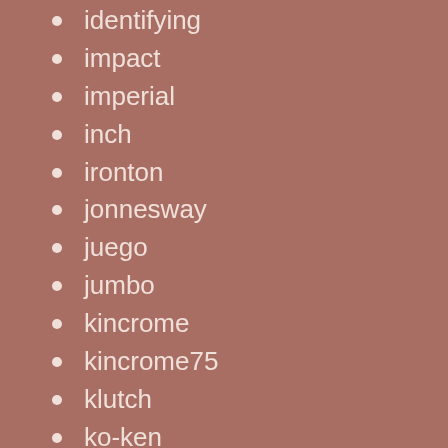identifying
impact
imperial
inch
ironton
jonnesway
juego
jumbo
kincrome
kincrome75
klutch
ko-ken
kobalt
koken
large